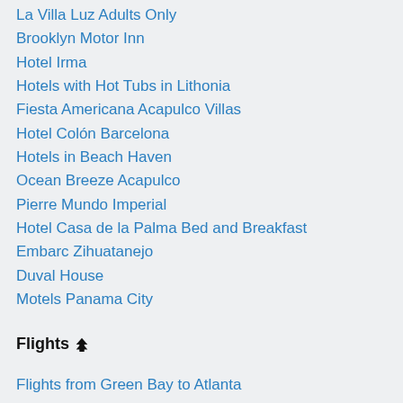La Villa Luz Adults Only
Brooklyn Motor Inn
Hotel Irma
Hotels with Hot Tubs in Lithonia
Fiesta Americana Acapulco Villas
Hotel Colón Barcelona
Hotels in Beach Haven
Ocean Breeze Acapulco
Pierre Mundo Imperial
Hotel Casa de la Palma Bed and Breakfast
Embarc Zihuatanejo
Duval House
Motels Panama City
Flights
Flights from Green Bay to Atlanta
Flights from Charlotte to Pittsburgh
Flights from Colorado Springs to Phoenix